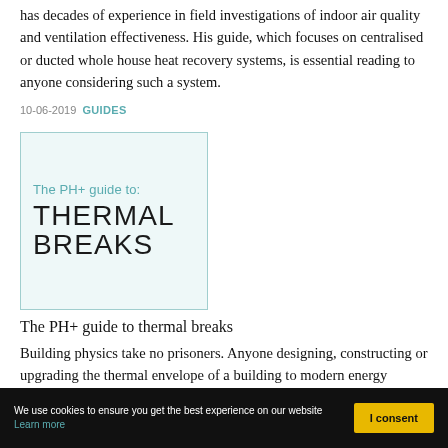has decades of experience in field investigations of indoor air quality and ventilation effectiveness. His guide, which focuses on centralised or ducted whole house heat recovery systems, is essential reading to anyone considering such a system.
10-06-2019 GUIDES
[Figure (illustration): Book cover thumbnail: 'The PH+ guide to: THERMAL BREAKS' with teal and dark text on light teal background with border]
The PH+ guide to thermal breaks
Building physics take no prisoners. Anyone designing, constructing or upgrading the thermal envelope of a building to modern energy performance levels is duty bound to…
We use cookies to ensure you get the best experience on our website Learn more   I consent